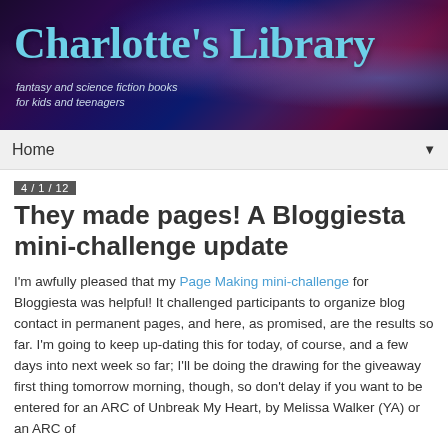[Figure (illustration): Charlotte's Library blog header banner with nebula/galaxy background image in deep purple, blue and red tones. Title text reads Charlotte's Library in large teal serif font, with subtitle 'fantasy and science fiction books for kids and teenagers' below.]
Home ▼
4 / 1 / 12
They made pages! A Bloggiesta mini-challenge update
I'm awfully pleased that my Page Making mini-challenge for Bloggiesta was helpful! It challenged participants to organize blog contact in permanent pages, and here, as promised, are the results so far. I'm going to keep up-dating this for today, of course, and a few days into next week so far; I'll be doing the drawing for the giveaway first thing tomorrow morning, though, so don't delay if you want to be entered for an ARC of Unbreak My Heart, by Melissa Walker (YA) or an ARC of